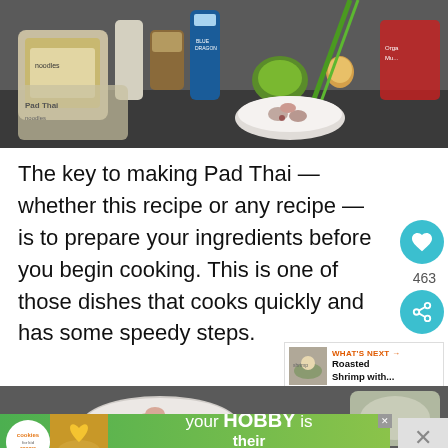[Figure (photo): Pad Thai ingredients laid out on a counter: rice noodles in bag, sauces including Blue Dragon, green onions, lime, egg, shrimp in bowl, and other ingredients]
The key to making Pad Thai — whether this recipe or any recipe — is to prepare your ingredients before you begin cooking. This is one of those dishes that cooks quickly and has some speedy steps.
[Figure (photo): Close-up of shrimp in a bowl, partial view of second food photo]
[Figure (infographic): Advertisement banner: cookies for kid cancer — your HOBBY is their HOPE]